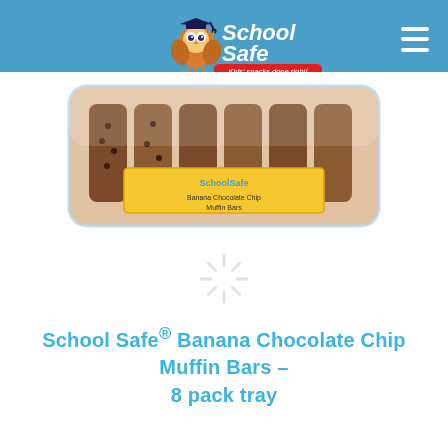[Figure (logo): SchoolSafe logo with owl mascot wearing graduation cap and tagline 'Kids' snacks done right!']
[Figure (photo): School Safe Banana Chocolate Chip Muffin Bars product in clear plastic 8-pack tray with yellow label]
[Figure (other): Loading spinner graphic]
School Safe® Banana Chocolate Chip Muffin Bars – 8 pack tray